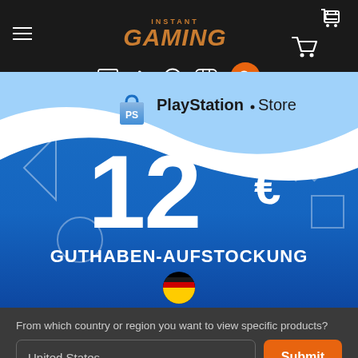[Figure (screenshot): Instant Gaming website header with navigation bar showing hamburger menu, Instant Gaming logo in orange, cart icon, and platform icons (PC, PlayStation, Xbox, Nintendo Switch) with orange search button]
[Figure (photo): PlayStation Store gift card product image showing 12 euro Guthaben-Aufstockung (credit top-up) with blue gradient background, PS symbols, German flag emoji, PlayStation Store logo]
From which country or region you want to view specific products?
United States
Submit